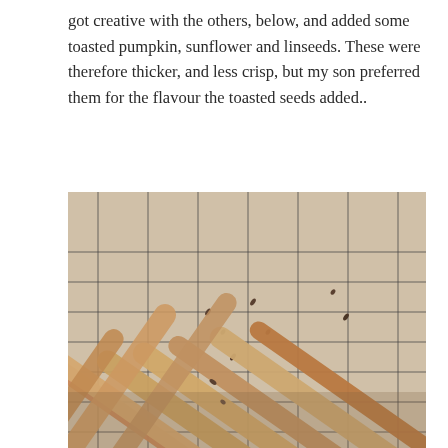got creative with the others, below, and added some toasted pumpkin, sunflower and linseeds. These were therefore thicker, and less crisp, but my son preferred them for the flavour the toasted seeds added..
[Figure (photo): A pile of homemade breadsticks with seeds, cooling on a wire rack. The breadsticks are golden-brown, twisted and elongated, with visible seeds embedded in them. Some are plain and thinner, others are thicker with seeds. They are arranged criss-cross on a metal cooling rack.]